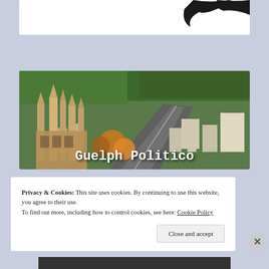[Figure (photo): Aerial photo of Guelph city showing gothic church spires in foreground and city streets extending into the distance, with autumn trees. Text overlay reads 'Guelph Politico'.]
Privacy & Cookies: This site uses cookies. By continuing to use this website, you agree to their use.
To find out more, including how to control cookies, see here: Cookie Policy
Close and accept